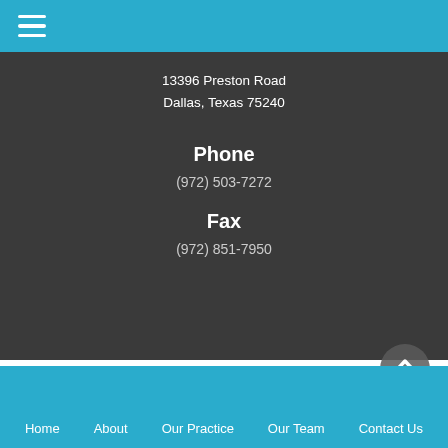13396 Preston Road
Dallas, Texas 75240
Phone
(972) 503-7272
Fax
(972) 851-7950
Home   About   Our Practice   Our Team   Contact Us